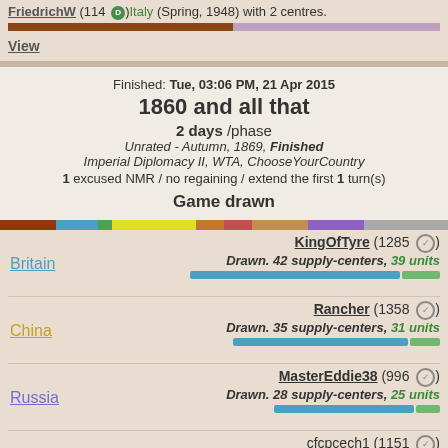FriedrichW (114 D) Italy (Spring, 1948) with 2 centres.
View
Finished: Tue, 03:06 PM, 21 Apr 2015
1860 and all that
2 days /phase
Unrated - Autumn, 1869, Finished
Imperial Diplomacy II, WTA, ChooseYourCountry
1 excused NMR / no regaining / extend the first 1 turn(s)
Game drawn
Britain - KingOfTyre (1285) Drawn. 42 supply-centers, 39 units
China - Rancher (1358) Drawn. 35 supply-centers, 31 units
Russia - MasterEddie38 (996) Drawn. 28 supply-centers, 25 units
Turkey - cfcpcech1 (1151) Drawn. 22 supply-centers, 17 units
Mexico - pyrhos (1268) Drawn. 18 supply-centers, 14 units